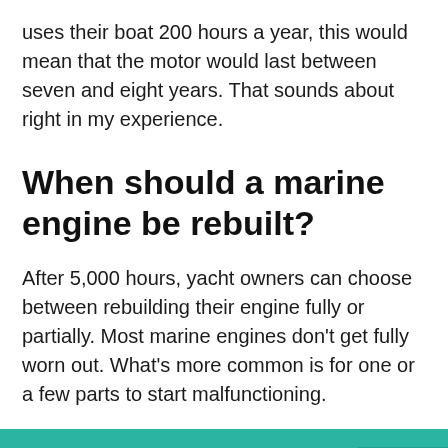uses their boat 200 hours a year, this would mean that the motor would last between seven and eight years. That sounds about right in my experience.
When should a marine engine be rebuilt?
After 5,000 hours, yacht owners can choose between rebuilding their engine fully or partially. Most marine engines don't get fully worn out. What's more common is for one or a few parts to start malfunctioning.
IT IS IMPORTANT:  How can you mess up your transmission?